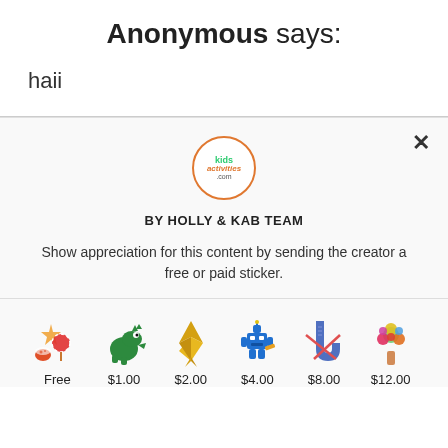Anonymous says:
haii
[Figure (logo): Kids Activities .com circular logo with orange border]
BY HOLLY & KAB TEAM
Show appreciation for this content by sending the creator a free or paid sticker.
| Sticker | Price |
| --- | --- |
| Free sticker emoji | Free |
| Dinosaur sticker | $1.00 |
| Origami crane sticker | $2.00 |
| Robot sticker | $4.00 |
| Sock sticker | $8.00 |
| Flower bouquet sticker | $12.00 |